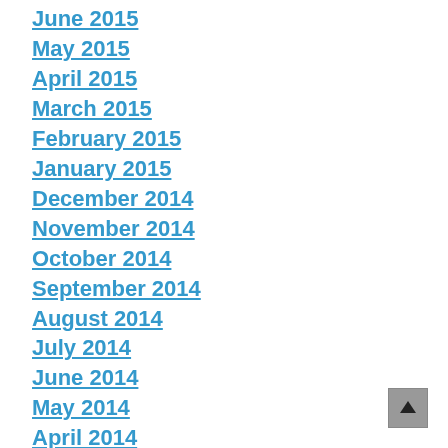June 2015
May 2015
April 2015
March 2015
February 2015
January 2015
December 2014
November 2014
October 2014
September 2014
August 2014
July 2014
June 2014
May 2014
April 2014
March 2014
February 2014
January 2014
December 2013